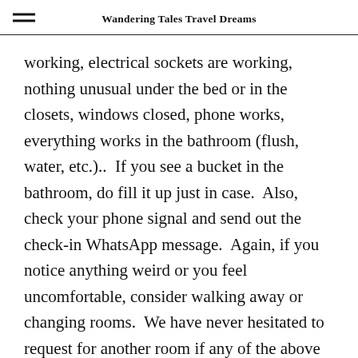Wandering Tales Travel Dreams
working, electrical sockets are working, nothing unusual under the bed or in the closets, windows closed, phone works, everything works in the bathroom (flush, water, etc.)..  If you see a bucket in the bathroom, do fill it up just in case.  Also, check your phone signal and send out the check-in WhatsApp message.  Again, if you notice anything weird or you feel uncomfortable, consider walking away or changing rooms.  We have never hesitated to request for another room if any of the above were not in proper working order